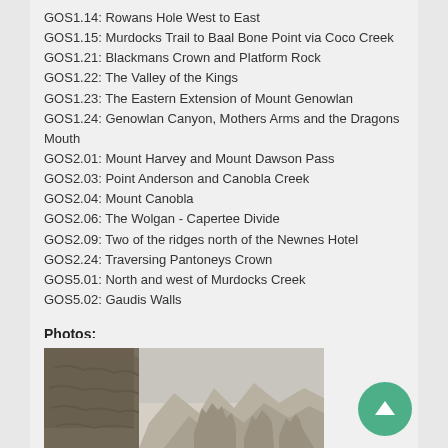GOS1.14: Rowans Hole West to East
GOS1.15: Murdocks Trail to Baal Bone Point via Coco Creek
GOS1.21: Blackmans Crown and Platform Rock
GOS1.22: The Valley of the Kings
GOS1.23: The Eastern Extension of Mount Genowlan
GOS1.24: Genowlan Canyon, Mothers Arms and the Dragons Mouth
GOS2.01: Mount Harvey and Mount Dawson Pass
GOS2.03: Point Anderson and Canobla Creek
GOS2.04: Mount Canobla
GOS2.06: The Wolgan - Capertee Divide
GOS2.09: Two of the ridges north of the Newnes Hotel
GOS2.24: Traversing Pantoneys Crown
GOS5.01: North and west of Murdocks Creek
GOS5.02: Gaudis Walls
Photos:
[Figure (photo): Rocky cliff face and mountain landscape photograph]